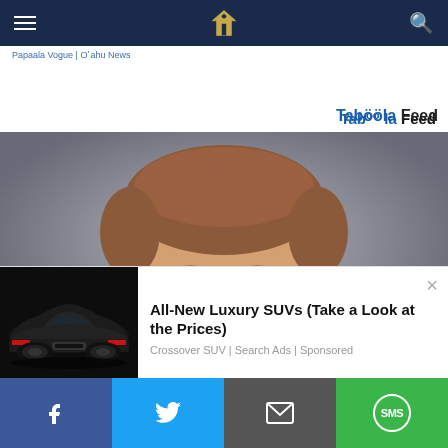Navigation bar with hamburger menu, site logo, and search icon
Papaala Vogue | Oʻahu News
Tabööla Feed
[Figure (photo): Close-up headshot of a middle-aged man with short reddish-brown hair, blue eyes, against a grey background]
All-New Luxury SUVs (Take a Look at the Prices)
Crossover SUV | Search Ads | Sponsored
[Figure (photo): Advertisement image of a dark futuristic luxury SUV/crossover car]
Facebook | Twitter | Email | SMS social share bar